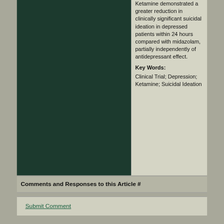[Figure (photo): Dark green/teal colored rectangle representing a medical image or figure placeholder]
Ketamine demonstrated a greater reduction in clinically significant suicidal ideation in depressed patients within 24 hours compared with midazolam, partially independently of antidepressant effect.
Key Words:
Clinical Trial; Depression; Ketamine; Suicidal Ideation
Comments and Responses to this Article #
Submit Comment